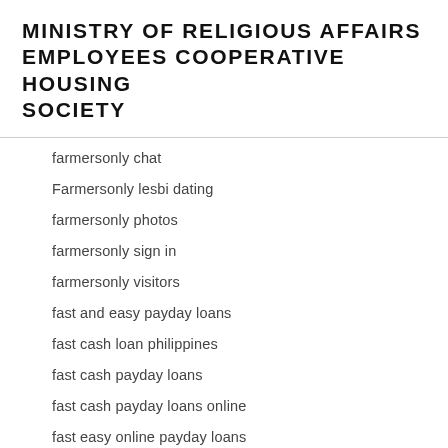MINISTRY OF RELIGIOUS AFFAIRS EMPLOYEES COOPERATIVE HOUSING SOCIETY
farmersonly chat
Farmersonly lesbi dating
farmersonly photos
farmersonly sign in
farmersonly visitors
fast and easy payday loans
fast cash loan philippines
fast cash payday loans
fast cash payday loans online
fast easy online payday loans